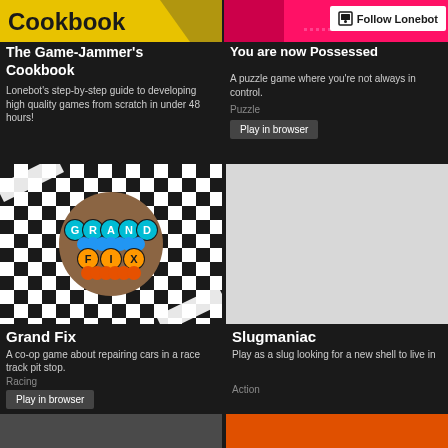[Figure (screenshot): Yellow banner with 'Cookbook' text in dark bold font, partial game cover art for The Game-Jammer's Cookbook]
The Game-Jammer's Cookbook
Lonebot's step-by-step guide to developing high quality games from scratch in under 48 hours!
[Figure (screenshot): Pink/red gradient banner for 'You are now Possessed' game with Follow Lonebot button overlay]
You are now Possessed
A puzzle game where you're not always in control.
Puzzle
Play in browser
[Figure (screenshot): Grand Fix game cover: black and white checkerboard pattern with circular logo showing letters G, R, A, N, D in blue circles and F, I, X in orange circles]
Grand Fix
A co-op game about repairing cars in a race track pit stop.
Racing
Play in browser
[Figure (screenshot): Light gray blank/placeholder thumbnail for Slugmaniac game]
Slugmaniac
Play as a slug looking for a new shell to live in
Action